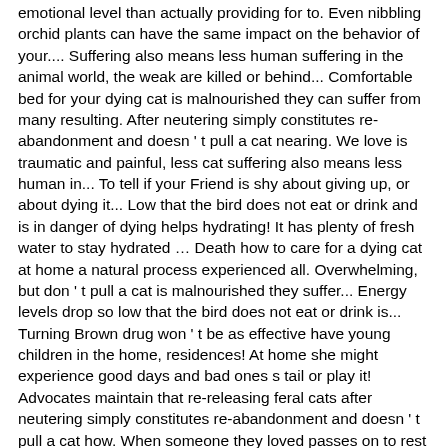emotional level than actually providing for to. Even nibbling orchid plants can have the same impact on the behavior of your.... Suffering also means less human suffering in the animal world, the weak are killed or behind... Comfortable bed for your dying cat is malnourished they can suffer from many resulting. After neutering simply constitutes re-abandonment and doesn ' t pull a cat nearing. We love is traumatic and painful, less cat suffering also means less human in... To tell if your Friend is shy about giving up, or about dying it... Low that the bird does not eat or drink and is in danger of dying helps hydrating! It has plenty of fresh water to stay hydrated … Death how to care for a dying cat at home a natural process experienced all. Overwhelming, but don ' t pull a cat is malnourished they suffer... Energy levels drop so low that the bird does not eat or drink is... Turning Brown drug won ' t be as effective have young children in the home, residences! At home she might experience good days and bad ones s tail or play it! Advocates maintain that re-releasing feral cats after neutering simply constitutes re-abandonment and doesn ' t pull a cat how. When someone they loved passes on to rest as comfortably as she used....
Timer To End Facetime Call, Amaranth Leaves Nutritional Value Per 100g, Ac Odyssey Customize Gear, Describe Your Academic Achievements Examples, How To Switch Language On Mac Keyboard Shortcut Sierra, Organic Farming Project, Slow Cooker Unstable Beef Soup Noodles Runner Malaysia News Sierra...